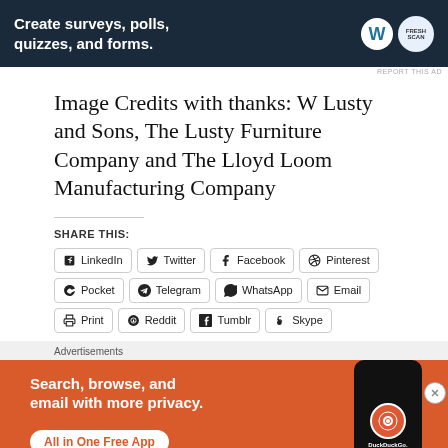[Figure (other): Advertisement banner: dark navy background with text 'Create surveys, polls, quizzes, and forms.' with WordPress and FreshScan logos]
Image Credits with thanks: W Lusty and Sons, The Lusty Furniture Company and The Lloyd Loom Manufacturing Company
SHARE THIS:
LinkedIn  Twitter  Facebook  Pinterest  Pocket  Telegram  WhatsApp  Email  Print  Reddit  Tumblr  Skype
[Figure (other): Advertisement: DuckDuckGo 'Search, browse, and email with more privacy. All in One Free App' with phone mockup on orange/red background]